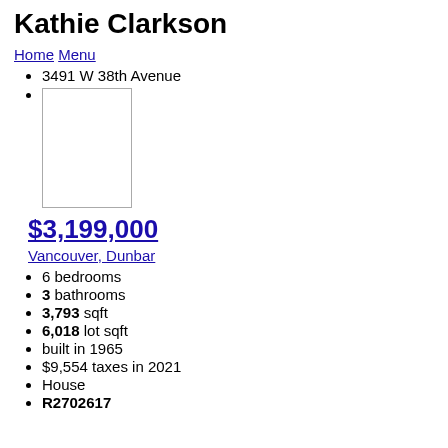Kathie Clarkson
Home Menu
3491 W 38th Avenue
[Figure (photo): Property image placeholder]
$3,199,000
Vancouver, Dunbar
6 bedrooms
3 bathrooms
3,793 sqft
6,018 lot sqft
built in 1965
$9,554 taxes in 2021
House
R2702617